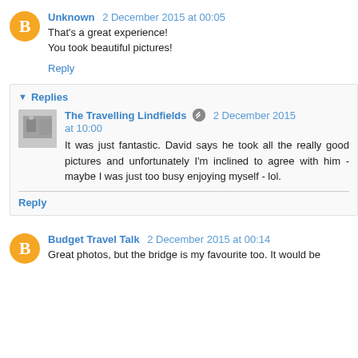Unknown 2 December 2015 at 00:05
That's a great experience!
You took beautiful pictures!
Reply
Replies
The Travelling Lindfields 2 December 2015 at 10:00
It was just fantastic. David says he took all the really good pictures and unfortunately I'm inclined to agree with him - maybe I was just too busy enjoying myself - lol.
Reply
Budget Travel Talk 2 December 2015 at 00:14
Great photos, but the bridge is my favourite too. It would be